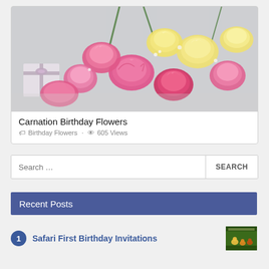[Figure (photo): A bouquet of pink, red, and cream/yellow carnation flowers with white baby's breath, and a small wrapped gift box with a tag in the background, on a grey surface.]
Carnation Birthday Flowers
Birthday Flowers · 605 Views
Search ...
Recent Posts
1 Safari First Birthday Invitations